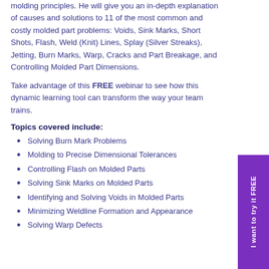molding principles. He will give you an in-depth explanation of causes and solutions to 11 of the most common and costly molded part problems: Voids, Sink Marks, Short Shots, Flash, Weld (Knit) Lines, Splay (Silver Streaks), Jetting, Burn Marks, Warp, Cracks and Part Breakage, and Controlling Molded Part Dimensions.
Take advantage of this FREE webinar to see how this dynamic learning tool can transform the way your team trains.
Topics covered include:
Solving Burn Mark Problems
Molding to Precise Dimensional Tolerances
Controlling Flash on Molded Parts
Solving Sink Marks on Molded Parts
Identifying and Solving Voids in Molded Parts
Minimizing Weldline Formation and Appearance
Solving Warp Defects